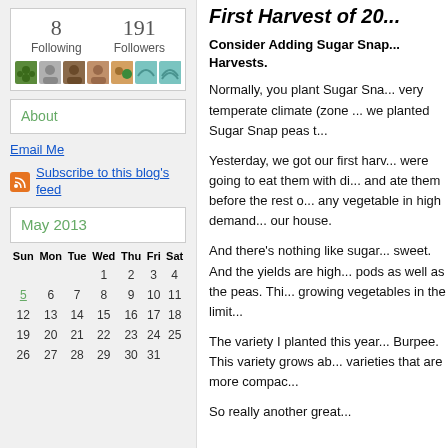[Figure (infographic): Sidebar showing follower stats: 8 Following, 191 Followers, with avatar thumbnails]
8
Following
191
Followers
About
Email Me
Subscribe to this blog's feed
May 2013
| Sun | Mon | Tue | Wed | Thu | Fri | Sat |
| --- | --- | --- | --- | --- | --- | --- |
|  |  |  | 1 | 2 | 3 | 4 |
| 5 | 6 | 7 | 8 | 9 | 10 | 11 |
| 12 | 13 | 14 | 15 | 16 | 17 | 18 |
| 19 | 20 | 21 | 22 | 23 | 24 | 25 |
| 26 | 27 | 28 | 29 | 30 | 31 |  |
First Harvest of 20...
Consider Adding Sugar Snap... Harvests.
Normally, you plant Sugar Sna... very temperate climate (zone ... we planted Sugar Snap peas t...
Yesterday, we got our first harv... were going to eat them with di... and ate them before the rest o... any vegetable in high demand... our house.
And there's nothing like sugar... sweet. And the yields are high... pods as well as the peas. Thi... growing vegetables in the limit...
The variety I planted this year... Burpee. This variety grows ab... varieties that are more compac...